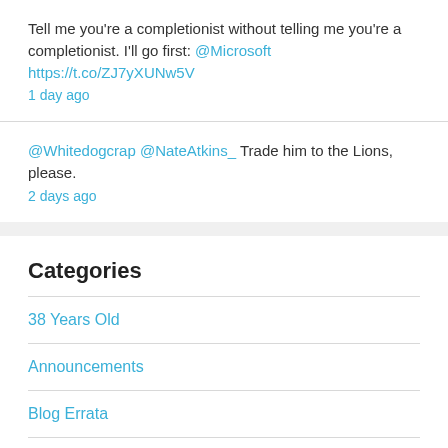Tell me you're a completionist without telling me you're a completionist. I'll go first: @Microsoft https://t.co/ZJ7yXUNw5V
1 day ago
@Whitedogcrap @NateAtkins_ Trade him to the Lions, please.
2 days ago
Categories
38 Years Old
Announcements
Blog Errata
Book Reviews
Cranium Outpost Import
Family
FutureView